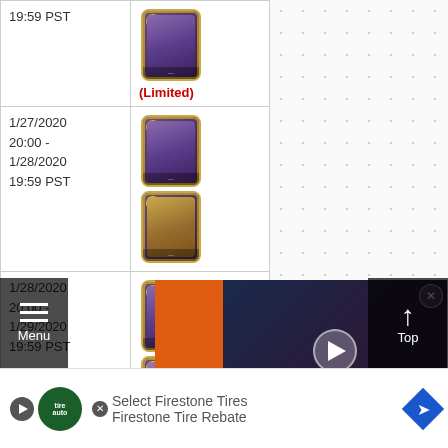| Date/Time | Cards |
| --- | --- |
| 1/27/2020 - 1/27/2020 19:59 PST | (Limited) |
| 1/27/2020 20:00 - 1/28/2020 19:59 PST | [card images] |
| 1/28/2020 20:00 - 1/29/2020 19:59 PST | [card images] |
| 1/29/2020 20:00 - 1/30/2020 19:59 PST | [card images] |
| 1/30/2020 20:00 - | [card image] |
[Figure (screenshot): PCGames N video overlay advertisement for 'The Best Dragon Games on PC']
[Figure (screenshot): Menu button overlay (hamburger icon) on left side]
[Figure (screenshot): Top button (up arrow) on right side]
[Figure (screenshot): Firestone Tire Rebate advertisement banner at bottom of page]